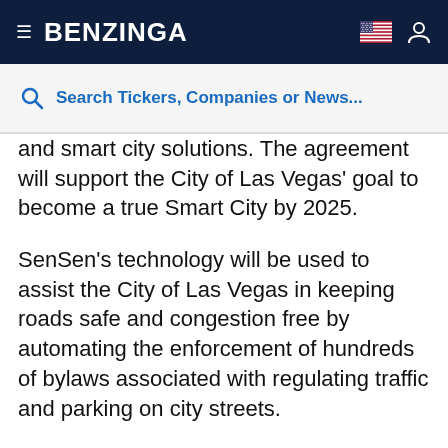BENZINGA
Search Tickers, Companies or News...
and smart city solutions. The agreement will support the City of Las Vegas' goal to become a true Smart City by 2025.
SenSen's technology will be used to assist the City of Las Vegas in keeping roads safe and congestion free by automating the enforcement of hundreds of bylaws associated with regulating traffic and parking on city streets.
The initial deal, which will be rolled out later this year, will see the introduction and management of two SenForce mobile parking enforcement units and 80 of